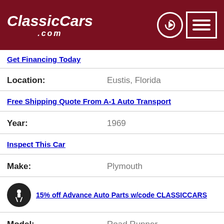ClassicCars.com
Get Financing Today
Location: Eustis, Florida
Free Shipping Quote From A-1 Auto Transport
Year: 1969
Inspect This Car
Make: Plymouth
15% off Advance Auto Parts w/code CLASSICCARS
Model: Road Runner